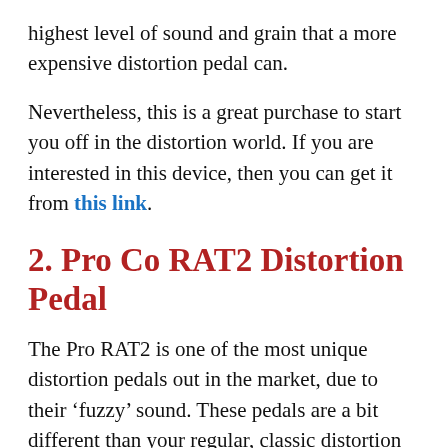highest level of sound and grain that a more expensive distortion pedal can.
Nevertheless, this is a great purchase to start you off in the distortion world. If you are interested in this device, then you can get it from this link.
2. Pro Co RAT2 Distortion Pedal
The Pro RAT2 is one of the most unique distortion pedals out in the market, due to their ‘fuzzy’ sound. These pedals are a bit different than your regular, classic distortion pedal due to them having their own sound and vibe.  These pedals produce a lot of grain, with a very nice filter control system.